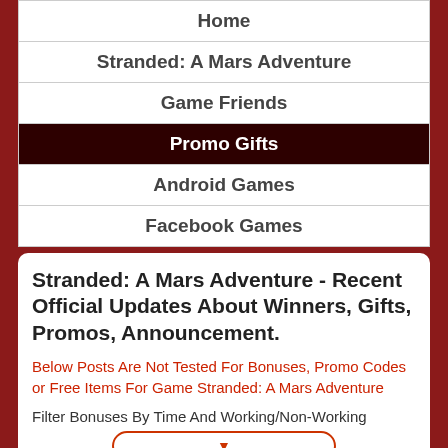Home
Stranded: A Mars Adventure
Game Friends
Promo Gifts
Android Games
Facebook Games
Stranded: A Mars Adventure - Recent Official Updates About Winners, Gifts, Promos, Announcement.
Below Posts Are Not Tested For Bonuses, Promo Codes or Free Items For Game Stranded: A Mars Adventure
Filter Bonuses By Time And Working/Non-Working